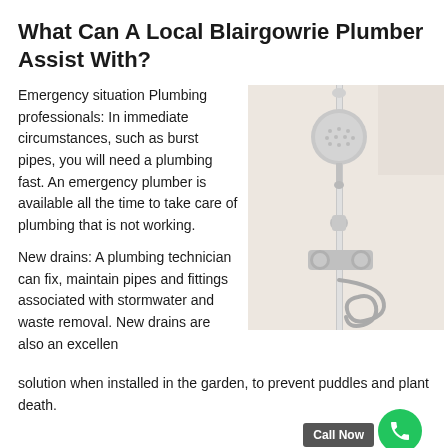What Can A Local Blairgowrie Plumber Assist With?
Emergency situation Plumbing professionals: In immediate circumstances, such as burst pipes, you will need a plumbing fast. An emergency plumber is available all the time to take care of plumbing that is not working.
[Figure (photo): Close-up photo of a chrome shower fixture with handheld shower head, hose, and valve controls mounted on a wall rail against a light background.]
New drains: A plumbing technician can fix, maintain pipes and fittings associated with stormwater and waste removal. New drains are also an excellent solution when installed in the garden, to prevent puddles and plant death.